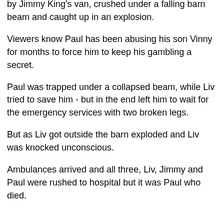by Jimmy King's van, crushed under a falling barn beam and caught up in an explosion.
Viewers know Paul has been abusing his son Vinny for months to force him to keep his gambling a secret.
Paul was trapped under a collapsed beam, while Liv tried to save him - but in the end left him to wait for the emergency services with two broken legs.
But as Liv got outside the barn exploded and Liv was knocked unconscious.
Ambulances arrived and all three, Liv, Jimmy and Paul were rushed to hospital but it was Paul who died.